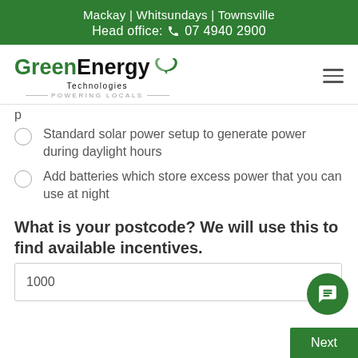Mackay | Whitsundays | Townsville
Head office: 07 4940 2900
[Figure (logo): Green Energy Technologies logo with recycling leaf icon and tagline 'Powering Locals']
Standard solar power setup to generate power during daylight hours
Add batteries which store excess power that you can use at night
What is your postcode? We will use this to find available incentives.
1000
Next